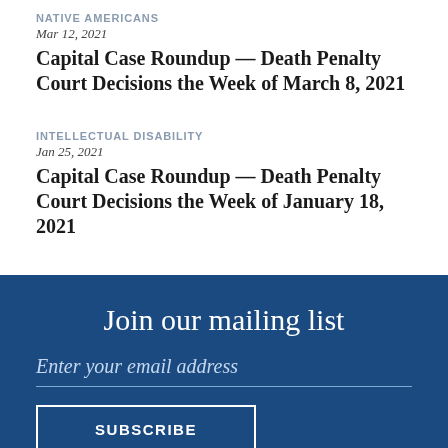NATIVE AMERICANS
Mar 12, 2021
Capital Case Roundup — Death Penalty Court Decisions the Week of March 8, 2021
INTELLECTUAL DISABILITY
Jan 25, 2021
Capital Case Roundup — Death Penalty Court Decisions the Week of January 18, 2021
Join our mailing list
Enter your email address
SUBSCRIBE